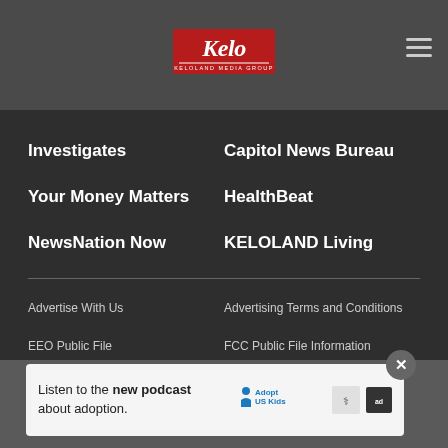[Figure (logo): KELOLAND Media Group logo — red rectangle with white cursive Kelo script and KELOLAND MEDIA GROUP text below]
Investigates
Capitol News Bureau
Your Money Matters
HealthBeat
NewsNation Now
KELOLAND Living
Advertise With Us
Advertising Terms and Conditions
EEO Public File
FCC Public File Information
Privacy Policy
Terms Of Use
Do Not Sell My Personal
FCC Applications
[Figure (infographic): Ad banner: Listen to the new podcast about adoption. Adopt US Kids logo with HHS and ad shield logos.]